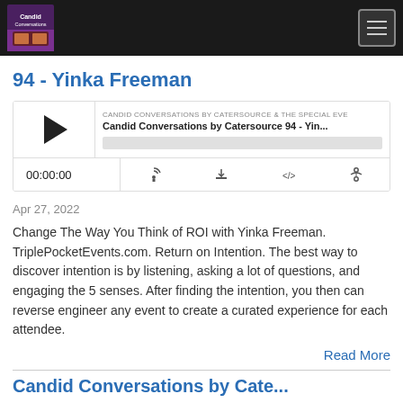Candid Conversations by Catersource — navigation bar with logo and hamburger menu
94 - Yinka Freeman
[Figure (screenshot): Podcast audio player widget showing 'Candid Conversations by Catersource 94 - Yin...' with play button, progress bar, time display 00:00:00 and control icons for RSS, download, embed, and share]
Apr 27, 2022
Change The Way You Think of ROI with Yinka Freeman. TriplePocketEvents.com. Return on Intention. The best way to discover intention is by listening, asking a lot of questions, and engaging the 5 senses. After finding the intention, you then can reverse engineer any event to create a curated experience for each attendee.
Read More
Candid Conversations by Cate...